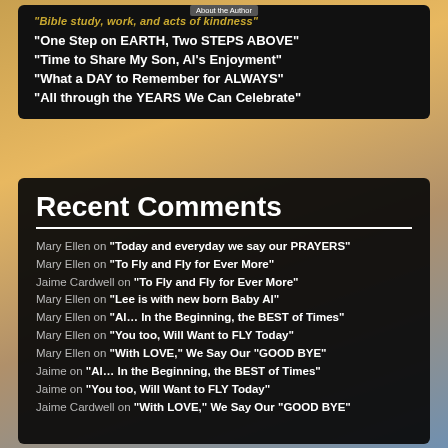About the Author
“One Step on EARTH, Two STEPS ABOVE”
“Time to Share My Son, Al’s Enjoyment”
“What a DAY to Remember for ALWAYS”
“All through the YEARS We Can Celebrate”
Recent Comments
Mary Ellen on “Today and everyday we say our PRAYERS”
Mary Ellen on “To Fly and Fly for Ever More”
Jaime Cardwell on “To Fly and Fly for Ever More”
Mary Ellen on “Lee is with new born Baby Al”
Mary Ellen on “Al… In the Beginning, the BEST of Times”
Mary Ellen on “You too, Will Want to FLY Today”
Mary Ellen on “With LOVE,” We Say Our “GOOD BYE”
Jaime on “Al… In the Beginning, the BEST of Times”
Jaime on “You too, Will Want to FLY Today”
Jaime Cardwell on “With LOVE,” We Say Our “GOOD BYE”